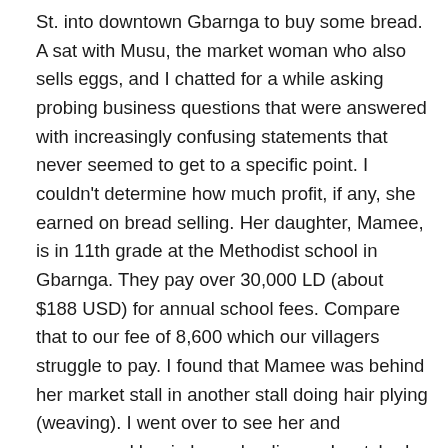St. into downtown Gbarnga to buy some bread. A sat with Musu, the market woman who also sells eggs, and I chatted for a while asking probing business questions that were answered with increasingly confusing statements that never seemed to get to a specific point. I couldn't determine how much profit, if any, she earned on bread selling. Her daughter, Mamee, is in 11th grade at the Methodist school in Gbarnga. They pay over 30,000 LD (about $188 USD) for annual school fees. Compare that to our fee of 8,600 which our villagers struggle to pay. I found that Mamee was behind her market stall in another stall doing hair plying (weaving). I went over to see her and encouraged her in her schooling as I watched her braid hair extensions into a customer's natural hair for 10LD (less than 7¢). She always struck me as a very bright girl and she told me she gets A's and B's on her report card.